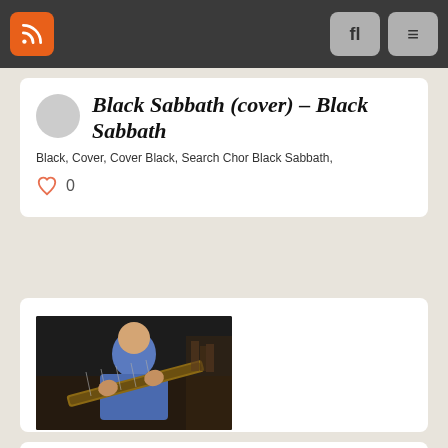Navigation bar with RSS icon, search button, and menu button
Black Sabbath (cover) – Black Sabbath
Black, Cover, Cover Black, Search Chor Black Sabbath,
0
[Figure (photo): Thumbnail image of a man in a blue shirt playing bass guitar]
Black Sabbath The Wizzard Bass